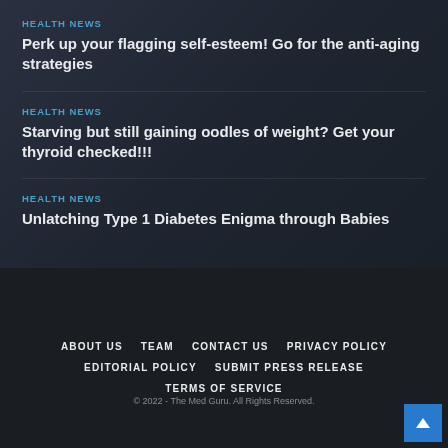HEALTH NEWS
Perk up your flagging self-esteem! Go for the anti-aging strategies
HEALTH NEWS
Starving but still gaining oodles of weight? Get your thyroid checked!!!
HEALTH NEWS
Unlatching Type 1 Diabetes Enigma through Babies
ABOUT US   TEAM   CONTACT US   PRIVACY POLICY   EDITORIAL POLICY   SUBMIT PRESS RELEASE   TERMS OF SERVICE
© 2022 - The Med Guru. All Rights Reserved.